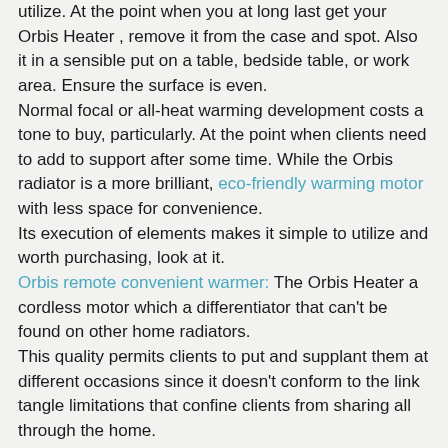utilize. At the point when you at long last get your Orbis Heater , remove it from the case and spot. Also it in a sensible put on a table, bedside table, or work area. Ensure the surface is even.
Normal focal or all-heat warming development costs a tone to buy, particularly. At the point when clients need to add to support after some time. While the Orbis radiator is a more brilliant, eco-friendly warming motor with less space for convenience.
Its execution of elements makes it simple to utilize and worth purchasing, look at it. Orbis remote convenient warmer: The Orbis Heater a cordless motor which a differentiator that can't be found on other home radiators.
This quality permits clients to put and supplant them at different occasions since it doesn't conform to the link tangle limitations that confine clients from sharing all through the home.